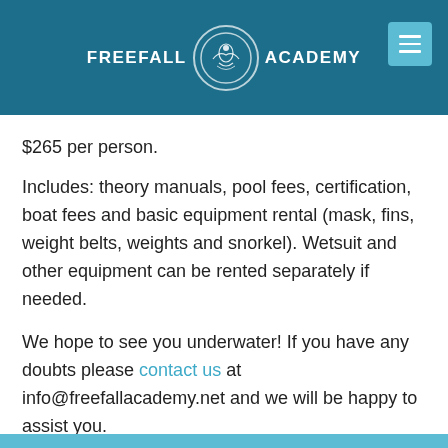FREEFALL ACADEMY
$265 per person.
Includes: theory manuals, pool fees, certification, boat fees and basic equipment rental (mask, fins, weight belts, weights and snorkel). Wetsuit and other equipment can be rented separately if needed.
We hope to see you underwater! If you have any doubts please contact us at info@freefallacademy.net and we will be happy to assist you.
READ MORE →